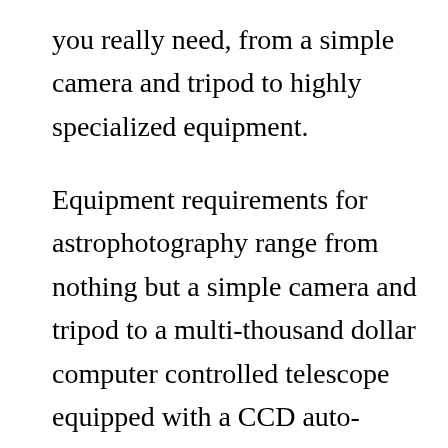you really need, from a simple camera and tripod to highly specialized equipment.
Equipment requirements for astrophotography range from nothing but a simple camera and tripod to a multi-thousand dollar computer controlled telescope equipped with a CCD auto-guider and separate guide-scope. Researching the best equipment for your needs is a task in itself. Seip helps you to sort out which cameras are best for the various celestial objects and to